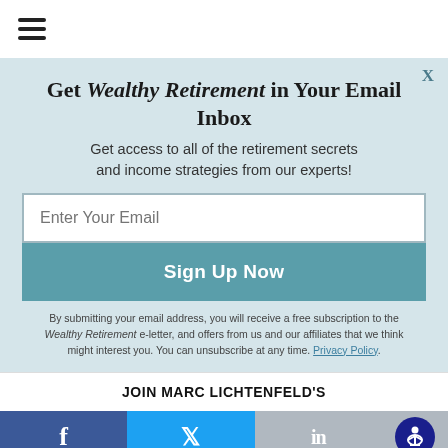[Figure (other): Hamburger menu icon (three horizontal lines) in top navigation bar]
Get Wealthy Retirement in Your Email Inbox
Get access to all of the retirement secrets and income strategies from our experts!
Enter Your Email
Sign Up Now
By submitting your email address, you will receive a free subscription to the Wealthy Retirement e-letter, and offers from us and our affiliates that we think might interest you. You can unsubscribe at any time. Privacy Policy.
JOIN MARC LICHTENFELD'S
[Figure (other): Social sharing footer bar with Facebook, Twitter, LinkedIn icons and accessibility icon]